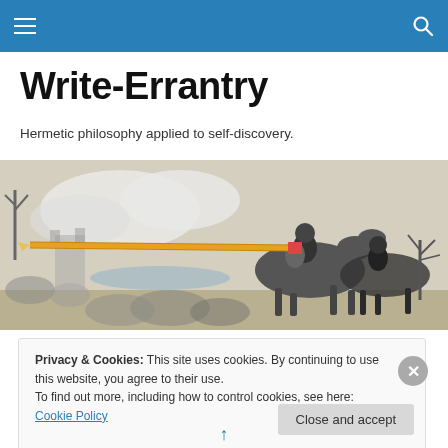Write-Errantry navigation bar with hamburger menu and search icon
Write-Errantry
Hermetic philosophy applied to self-discovery.
[Figure (illustration): Black and white engraving of a knight on horseback jousting, with a large pencil as the lance, countryside battle scene in the background]
Privacy & Cookies: This site uses cookies. By continuing to use this website, you agree to their use.
To find out more, including how to control cookies, see here: Cookie Policy
Close and accept